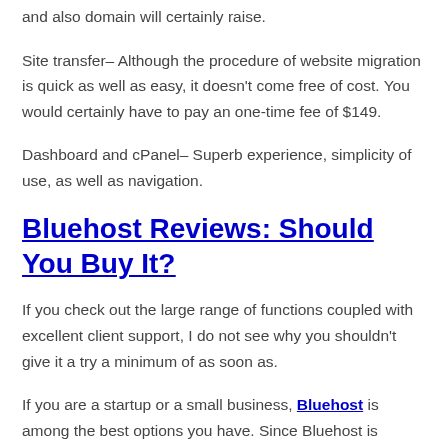and also domain will certainly raise.
Site transfer– Although the procedure of website migration is quick as well as easy, it doesn't come free of cost. You would certainly have to pay an one-time fee of $149.
Dashboard and cPanel– Superb experience, simplicity of use, as well as navigation.
Bluehost Reviews: Should You Buy It?
If you check out the large range of functions coupled with excellent client support, I do not see why you shouldn't give it a try a minimum of as soon as.
If you are a startup or a small business, Bluehost is among the best options you have. Since Bluehost is scalable, you can always